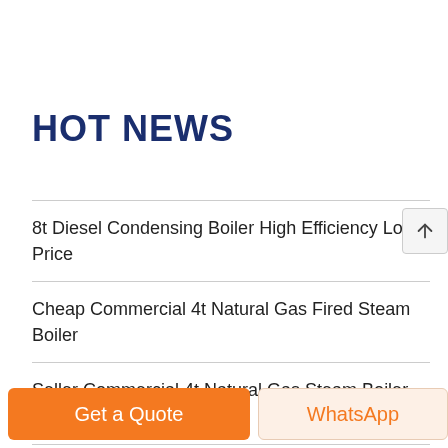HOT NEWS
8t Diesel Condensing Boiler High Efficiency Low Price
Cheap Commercial 4t Natural Gas Fired Steam Boiler
Seller Commercial 4t Natural Gas Steam Boiler Kazakhstan
1t Coal Fired Boiler Brand Agent Price Moldavia